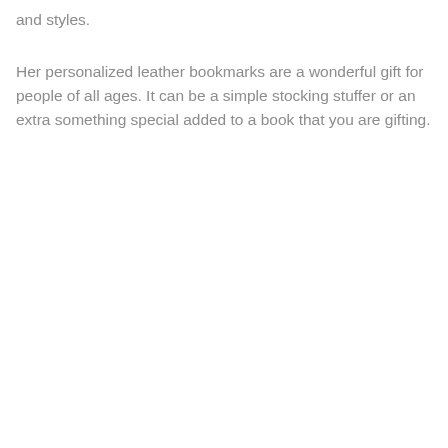and styles.
Her personalized leather bookmarks are a wonderful gift for people of all ages. It can be a simple stocking stuffer or an extra something special added to a book that you are gifting.